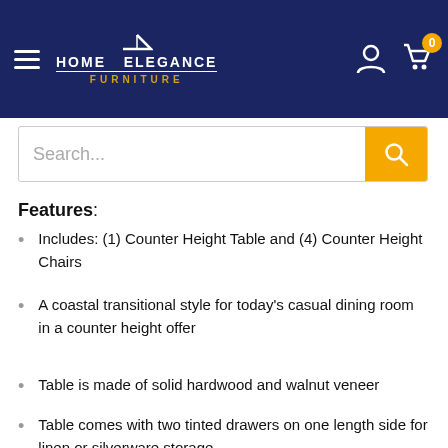Home Elegance Furniture
Search...
Features:
Includes: (1) Counter Height Table and (4) Counter Height Chairs
A coastal transitional style for today's casual dining room in a counter height offer
Table is made of solid hardwood and walnut veneer
Table comes with two tinted drawers on one length side for linen or silverware storage
Table has two open shelves for easy access storage
Stools have seat frame construction and are upholstered in brown leatherette